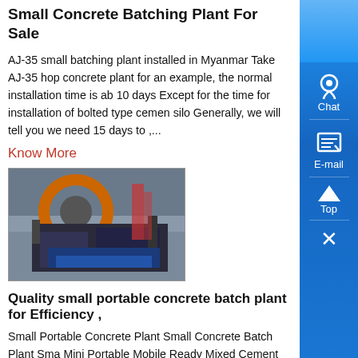Small Concrete Batching Plant For Sale
AJ-35 small batching plant installed in Myanmar Take AJ-35 hop concrete plant for an example, the normal installation time is ab 10 days Except for the time for installation of bolted type cemen silo Generally, we will tell you we need 15 days to ,...
Know More
[Figure (photo): Industrial machinery - small concrete batching plant crusher equipment in factory setting]
Quality small portable concrete batch plant for Efficiency ,
Small Portable Concrete Plant Small Concrete Batch Plant Sma Mini Portable Mobile Ready Mixed Cement Concrete Batching Mixing Plant Price For Sale 11,00000- 27,00000/ Set 10 Sets M Order Henan Shanjie Machinery Equipment Co, Ltd CN 2 YRS